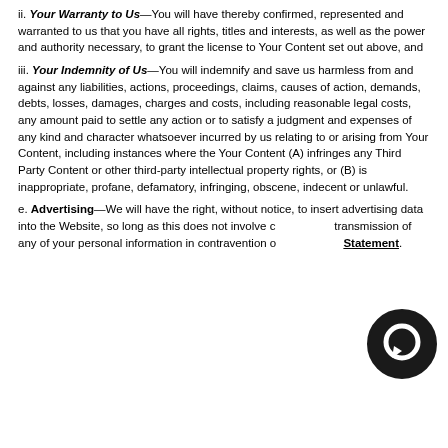ii. Your Warranty to Us—You will have thereby confirmed, represented and warranted to us that you have all rights, titles and interests, as well as the power and authority necessary, to grant the license to Your Content set out above, and
iii. Your Indemnity of Us—You will indemnify and save us harmless from and against any liabilities, actions, proceedings, claims, causes of action, demands, debts, losses, damages, charges and costs, including reasonable legal costs, any amount paid to settle any action or to satisfy a judgment and expenses of any kind and character whatsoever incurred by us relating to or arising from Your Content, including instances where the Your Content (A) infringes any Third Party Content or other third-party intellectual property rights, or (B) is inappropriate, profane, defamatory, infringing, obscene, indecent or unlawful.
e. Advertising—We will have the right, without notice, to insert advertising data into the Website, so long as this does not involve collection or transmission of any of your personal information in contravention of our Privacy Statement.